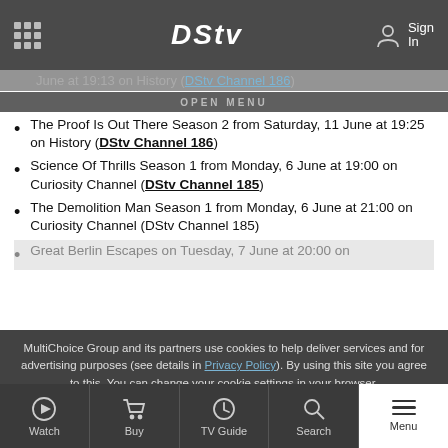DStv — Sign In
OPEN MENU
The Proof Is Out There Season 2 from Saturday, 11 June at 19:25 on History (DStv Channel 186)
Science Of Thrills Season 1 from Monday, 6 June at 19:00 on Curiosity Channel (DStv Channel 185)
The Demolition Man Season 1 from Monday, 6 June at 21:00 on Curiosity Channel (DStv Channel 185)
Great Berlin Escapes on Tuesday, 7 June at 20:00 on [partially visible]
MultiChoice Group and its partners use cookies to help deliver services and for advertising purposes (see details in Privacy Policy). By using this site you agree to this. You can change your cookie settings in your browser.
Accept Cookies
Let's Chat!
Hidden Germany on Wednesday, 1 June at 20:00 on Curiosity Channel (DStv Channel 185)
Watch | Buy | TV Guide | Search | Menu